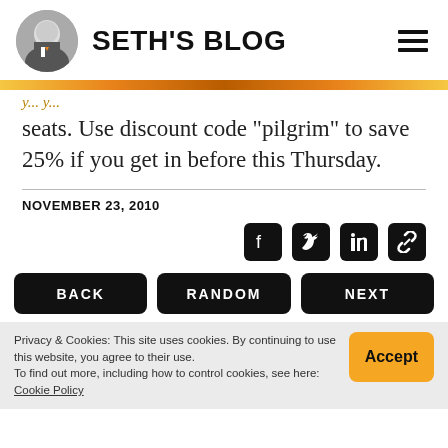SETH'S BLOG
seats. Use discount code "pilgrim" to save 25% if you get in before this Thursday.
NOVEMBER 23, 2010
[Figure (other): Social sharing icons: Facebook, Twitter, LinkedIn, Link]
BACK   RANDOM   NEXT
Privacy & Cookies: This site uses cookies. By continuing to use this website, you agree to their use.
To find out more, including how to control cookies, see here: Cookie Policy